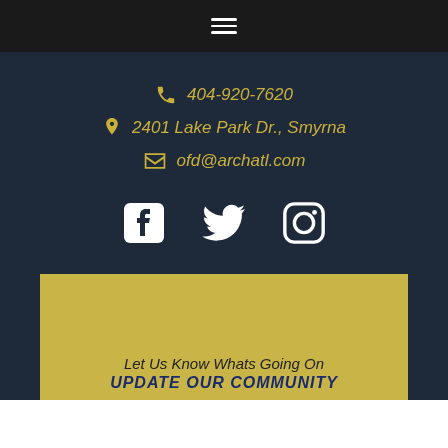[Figure (other): Hamburger menu icon (three horizontal white lines) on dark bar]
📞 404-920-7620
📍 2401 Lake Park Dr., Smyrna
✉ ofd@archatl.com
[Figure (other): Social media icons: Facebook, Twitter, Instagram]
Let Us Know Whats Going On
UPDATE OUR COMMUNITY